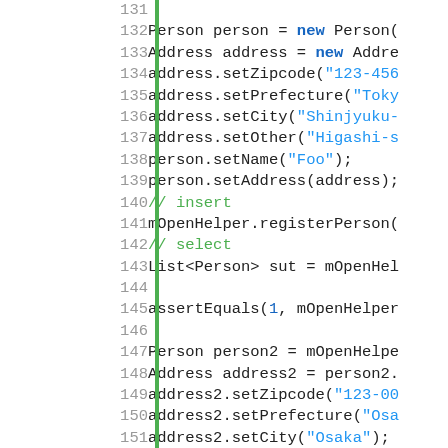[Figure (screenshot): Java source code snippet showing lines 131-155 with syntax highlighting. Line numbers in grey on the left, a green vertical bar separator, and code on the right. Keywords 'new' appear in blue, string literals in blue, comments '// insert', '// select', '// update' in green.]